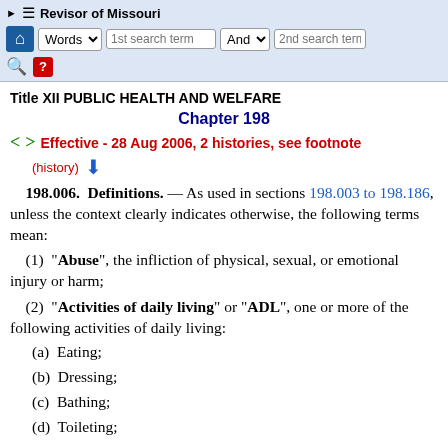Revisor of Missouri — toolbar with search fields
Title XII PUBLIC HEALTH AND WELFARE
Chapter 198
Effective - 28 Aug 2006, 2 histories, see footnote (history)
198.006. Definitions. — As used in sections 198.003 to 198.186, unless the context clearly indicates otherwise, the following terms mean:
(1) "Abuse", the infliction of physical, sexual, or emotional injury or harm;
(2) "Activities of daily living" or "ADL", one or more of the following activities of daily living:
(a)  Eating;
(b)  Dressing;
(c)  Bathing;
(d)  Toileting;